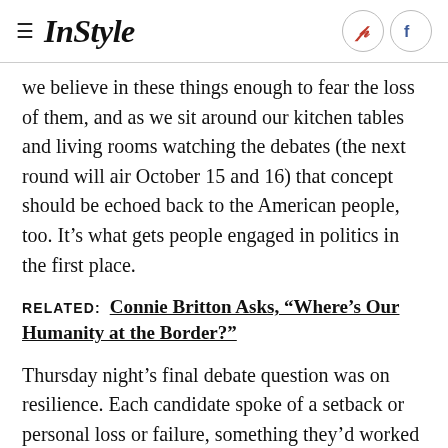InStyle
we believe in these things enough to fear the loss of them, and as we sit around our kitchen tables and living rooms watching the debates (the next round will air October 15 and 16) that concept should be echoed back to the American people, too. It’s what gets people engaged in politics in the first place.
RELATED: Connie Britton Asks, "Where’s Our Humanity at the Border?"
Thursday night’s final debate question was on resilience. Each candidate spoke of a setback or personal loss or failure, something they’d worked to overcome. With all